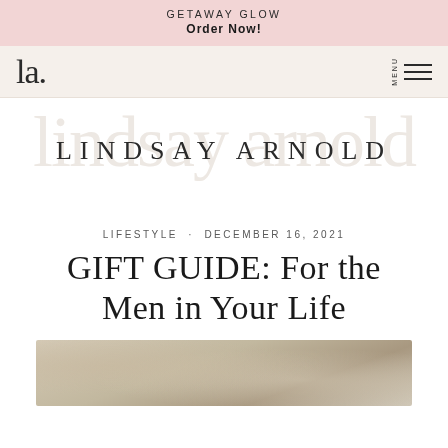GETAWAY GLOW
Order Now!
[Figure (logo): Lindsay Arnold cursive script logo mark 'la.' on pale beige navbar with MENU hamburger icon]
LINDSAY ARNOLD
LIFESTYLE  ·  DECEMBER 16, 2021
GIFT GUIDE: For the Men in Your Life
[Figure (photo): Partial photo showing a wrapped gift or decorative item with gold/neutral tones on a white textured surface]